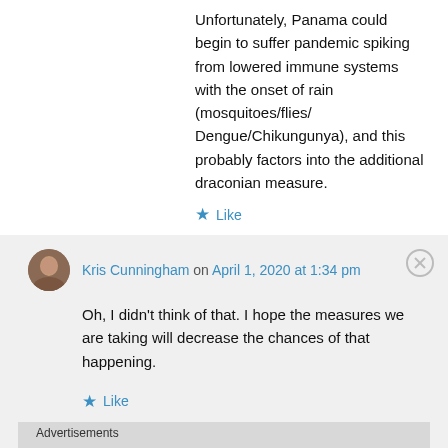Unfortunately, Panama could begin to suffer pandemic spiking from lowered immune systems with the onset of rain (mosquitoes/flies/Dengue/Chikungunya), and this probably factors into the additional draconian measure.
Like
Kris Cunningham on April 1, 2020 at 1:34 pm
Oh, I didn’t think of that. I hope the measures we are taking will decrease the chances of that happening.
Like
Advertisements